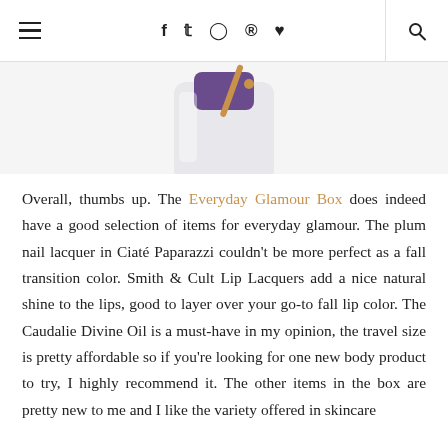≡  f  𝕏  📷  𝕡  ♥  🔍
[Figure (photo): Partial view of a beauty product bottle (appears to be an oil or serum) with gold-tipped dropper, white and purple packaging, cropped at the top of the content area.]
Overall, thumbs up. The Everyday Glamour Box does indeed have a good selection of items for everyday glamour. The plum nail lacquer in Ciaté Paparazzi couldn't be more perfect as a fall transition color. Smith & Cult Lip Lacquers add a nice natural shine to the lips, good to layer over your go-to fall lip color. The Caudalie Divine Oil is a must-have in my opinion, the travel size is pretty affordable so if you're looking for one new body product to try, I highly recommend it. The other items in the box are pretty new to me and I like the variety offered in skincare